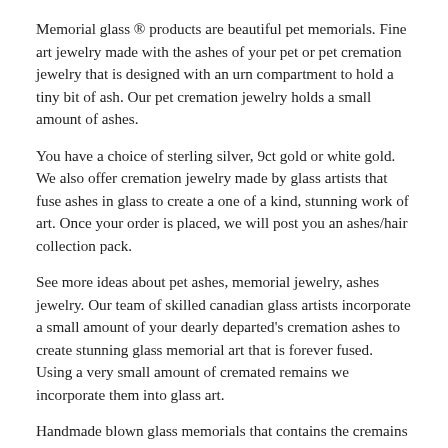Memorial glass ® products are beautiful pet memorials. Fine art jewelry made with the ashes of your pet or pet cremation jewelry that is designed with an urn compartment to hold a tiny bit of ash. Our pet cremation jewelry holds a small amount of ashes.
You have a choice of sterling silver, 9ct gold or white gold. We also offer cremation jewelry made by glass artists that fuse ashes in glass to create a one of a kind, stunning work of art. Once your order is placed, we will post you an ashes/hair collection pack.
See more ideas about pet ashes, memorial jewelry, ashes jewelry. Our team of skilled canadian glass artists incorporate a small amount of your dearly departed's cremation ashes to create stunning glass memorial art that is forever fused. Using a very small amount of cremated remains we incorporate them into glass art.
Handmade blown glass memorials that contains the cremains or ashes of a loved one. Each cremation glass art pendant and ring is unique; 5 out of 5 stars (315) 315 reviews $ 49.00 free shipping favorite add to.
There are no joins or seams so the mount is very strong. Once your order has been placed, we'll mail you a kit so you can send a teaspoon of ashes to the artist for merging with the glass. Keep a little of your lovely pet in your home